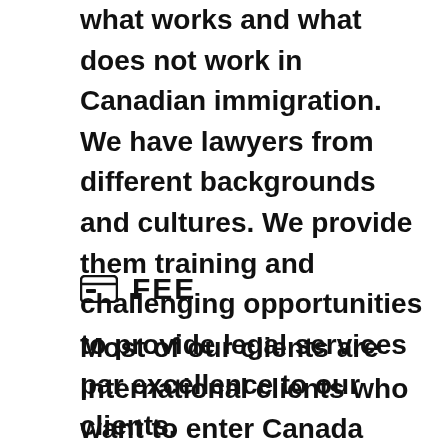what works and what does not work in Canadian immigration. We have lawyers from different backgrounds and cultures. We provide them training and challenging opportunities to provide legal services par excellence to our clients.
FEE
Most of our clients are international clients who want to enter Canada through legal means in the most cost